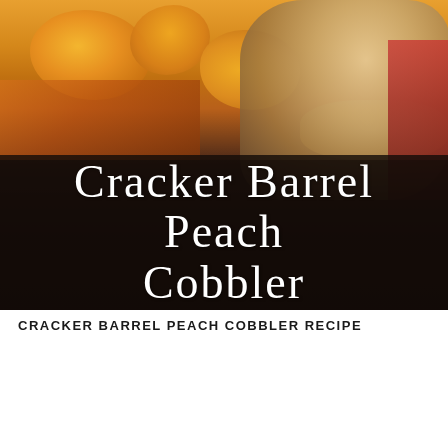[Figure (photo): Close-up photo of Cracker Barrel Peach Cobbler dessert with a dark overlay banner containing the title text 'Cracker Barrel Peach Cobbler' in white serif font]
CRACKER BARREL PEACH COBBLER RECIPE